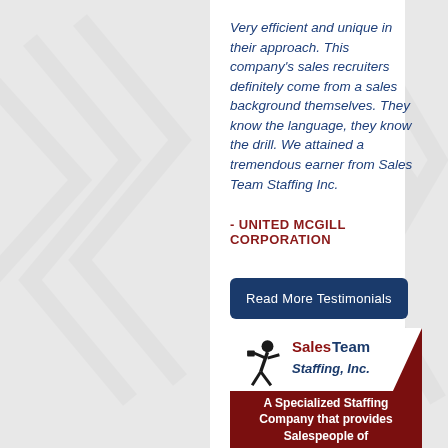Very efficient and unique in their approach. This company's sales recruiters definitely come from a sales background themselves. They know the language, they know the drill. We attained a tremendous earner from Sales Team Staffing Inc.
- UNITED MCGILL CORPORATION
Read More Testimonials
[Figure (logo): Sales Team Staffing Inc. logo with running businessman silhouette on white banner over dark red background, with text 'A Specialized Staffing Company that provides Salespeople of']